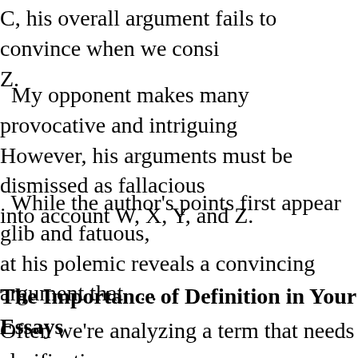C, his overall argument fails to convince when we consi Z.
My opponent makes many provocative and intriguing However, his arguments must be dismissed as fallacious into account W, X, Y, and Z.
While the author's points first appear glib and fatuous, at his polemic reveals a convincing argument that . . .
The Importance of Definition in Your Essays
Often we're analyzing a term that needs clarification. what is morality? Is morality a divine-inspired quality?